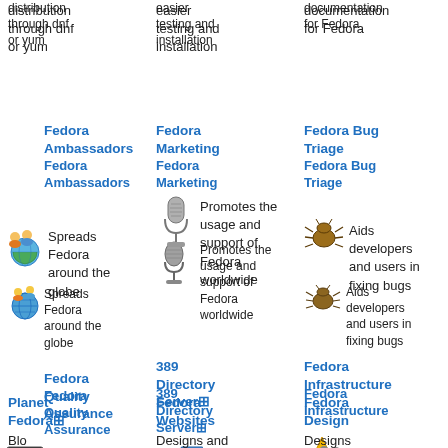distribution through dnf or yum
easier testing and installation
documentation for Fedora
Fedora Ambassadors
[Figure (illustration): Globe with people icons representing Fedora Ambassadors]
Spreads Fedora around the globe
Fedora Marketing
[Figure (illustration): Microphone icon representing Fedora Marketing]
Promotes the usage and support of Fedora worldwide
Fedora Bug Triage
[Figure (illustration): Bug icon representing Fedora Bug Triage]
Aids developers and users in fixing bugs
Fedora Quality Assurance
[Figure (illustration): Green monitor with heartbeat icon representing Fedora QA]
Prevents and fixes bugs for a better Fedora
389 Directory Server⊞
[Figure (illustration): Networked computers icon representing 389 Directory Server]
Provides an enterprise-class LDAP server for Fedora
Fedora Infrastructure
[Figure (illustration): Tools/wrench icon representing Fedora Infrastructure]
Provides servers, tools and utilities for the Fedora Project
Planet Fedora⊞
[Figure (illustration): Globe icon representing Planet Fedora]
Blo...
Fedora Websites
[Figure (illustration): Web icon representing Fedora Websites]
Designs and
Fedora Design
[Figure (illustration): Pencil/design icon representing Fedora Design]
Designs